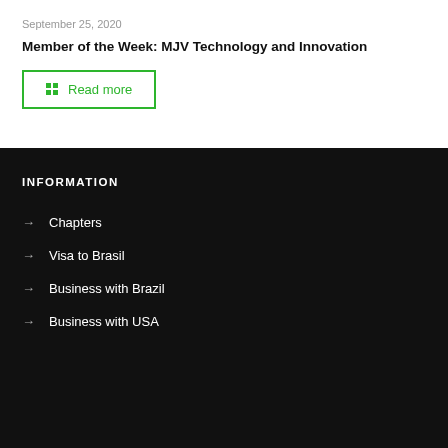September 25, 2020
Member of the Week: MJV Technology and Innovation
Read more
INFORMATION
Chapters
Visa to Brasil
Business with Brazil
Business with USA